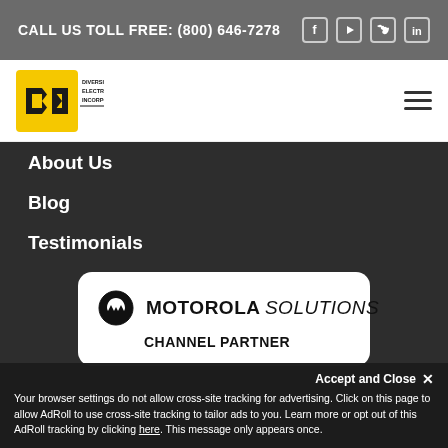CALL US TOLL FREE: (800) 646-7278
[Figure (logo): Diversified Electronics Incorporated logo - yellow arrows with company name]
About Us
Blog
Testimonials
[Figure (logo): Motorola Solutions Channel Partner badge in white rounded rectangle card]
[Figure (logo): Motorola Solutions logo in dark banner at bottom]
Accept and Close ✕
Your browser settings do not allow cross-site tracking for advertising. Click on this page to allow AdRoll to use cross-site tracking to tailor ads to you. Learn more or opt out of this AdRoll tracking by clicking here. This message only appears once.